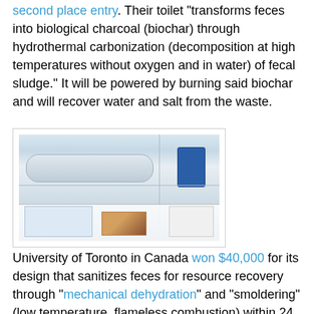second place entry. Their toilet "transforms feces into biological charcoal (biochar) through hydrothermal carbonization (decomposition at high temperatures without oxygen and in water) of fecal sludge." It will be powered by burning said biochar and will recover water and salt from the waste.
[Figure (photo): A laboratory or exhibit display showing a hydrothermal carbonization machine — a long cylindrical metallic tube/reactor mounted in a glass-fronted cabinet, with a blue component at the right. The lower section contains informational panels, printed images, and documents.]
University of Toronto in Canada won $40,000 for its design that sanitizes feces for resource recovery through "mechanical dehydration" and "smoldering" (low temperature, flameless combustion) within 24 hours while urine is zapped with a UV light.